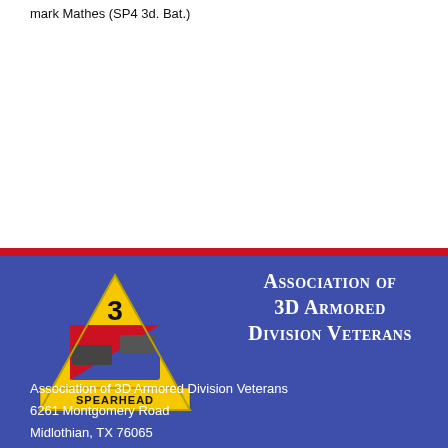mark Mathes (SP4 3d. Bat.)
[Figure (logo): 3D Armored Division Spearhead insignia: yellow triangle with number 3 at top, tank imagery in center, 'SPEARHEAD' text at bottom on yellow banner, blue and red colors]
Association of 3D Armored Division Veterans
Association of 3D Armored Division Veterans
6261 Montgomery Road
Midlothian, TX 76065